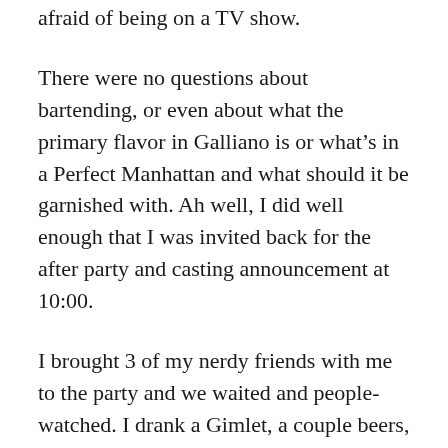afraid of being on a TV show.
There were no questions about bartending, or even about what the primary flavor in Galliano is or what's in a Perfect Manhattan and what should it be garnished with. Ah well, I did well enough that I was invited back for the after party and casting announcement at 10:00.
I brought 3 of my nerdy friends with me to the party and we waited and people-watched. I drank a Gimlet, a couple beers, and some horrible shot from a test tube. The show producers watched the crowd of contestants from a balcony over the dance floor, and I thought my cool and aloof demeanor was sure to win me a spot on the show.